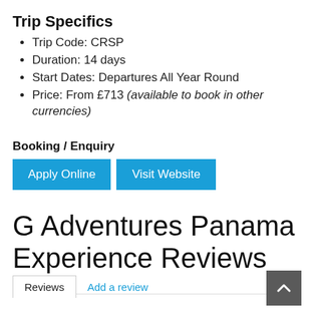Trip Specifics
Trip Code: CRSP
Duration: 14 days
Start Dates: Departures All Year Round
Price: From £713 (available to book in other currencies)
Booking / Enquiry
Apply Online
Visit Website
G Adventures Panama Experience Reviews
Reviews
Add a review